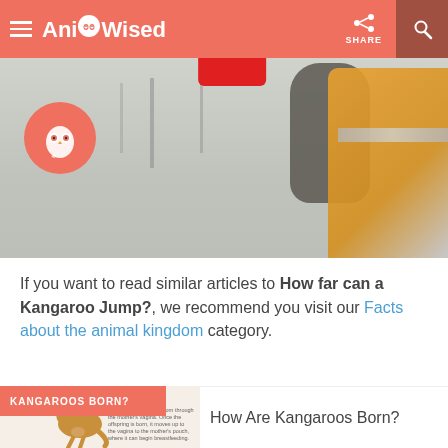AnimalWised
[Figure (photo): Hero image showing a kangaroo or animal being held by a person in an orange jacket, snowy/winter background. AnimalWised logo owl circle visible on left.]
If you want to read similar articles to How far can a Kangaroo Jump?, we recommend you visit our Facts about the animal kingdom category.
[Figure (photo): Thumbnail image of a kangaroo with joey. Small text describes kangaroo birth process.]
KANGAROOS BORN?
How Are Kangaroos Born?